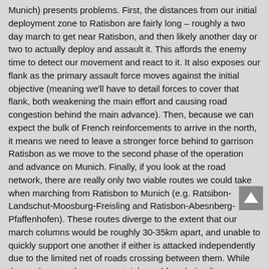Munich) presents problems. First, the distances from our initial deployment zone to Ratisbon are fairly long – roughly a two day march to get near Ratisbon, and then likely another day or two to actually deploy and assault it. This affords the enemy time to detect our movement and react to it. It also exposes our flank as the primary assault force moves against the initial objective (meaning we'll have to detail forces to cover that flank, both weakening the main effort and causing road congestion behind the main advance). Then, because we can expect the bulk of French reinforcements to arrive in the north, it means we need to leave a stronger force behind to garrison Ratisbon as we move to the second phase of the operation and advance on Munich. Finally, if you look at the road network, there are really only two viable routes we could take when marching from Ratisbon to Munich (e.g. Ratsibon-Landschut-Moosburg-Freisling and Ratisbon-Abesnberg-Pfaffenhofen). These routes diverge to the extent that our march columns would be roughly 30-35km apart, and unable to quickly support one another if either is attacked independently due to the limited net of roads crossing between them. While the north-to-south sweep certainly could work, it relies more on luck (good on our part, poor on the French side) than I'm comfortable with.
3)  I believe a south-to-north sweep (i.e. taking Munich first and then advancing on Ratisbon) offers the best potential for success. Because it is so close to the border, we can easily attack it before the enemy have time to react – if we're skilled and/or lucky we might even envelop and destroy whatever enemy forces are in the area before they can withdraw or be reinforced. Then, as we re-position northwards to attack Ratisbon, the road net works in our